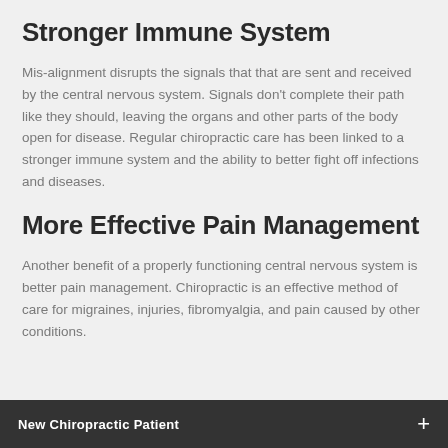Stronger Immune System
Mis-alignment disrupts the signals that that are sent and received by the central nervous system. Signals don't complete their path like they should, leaving the organs and other parts of the body open for disease. Regular chiropractic care has been linked to a stronger immune system and the ability to better fight off infections and diseases.
More Effective Pain Management
Another benefit of a properly functioning central nervous system is better pain management. Chiropractic is an effective method of care for migraines, injuries, fibromyalgia, and pain caused by other conditions.
New Chiropractic Patient